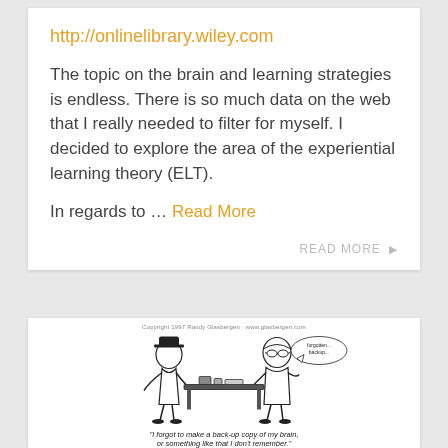http://onlinelibrary.wiley.com
The topic on the brain and learning strategies is endless. There is so much data on the web that I really needed to filter for myself. I decided to explore the area of the experiential learning theory (ELT).
In regards to … Read More
READ MORE ▶
[Figure (illustration): A cartoon showing two people at a desk in conversation. Caption reads: 'I forgot to make a back-up copy of my brain, or something like that I don't remember.']